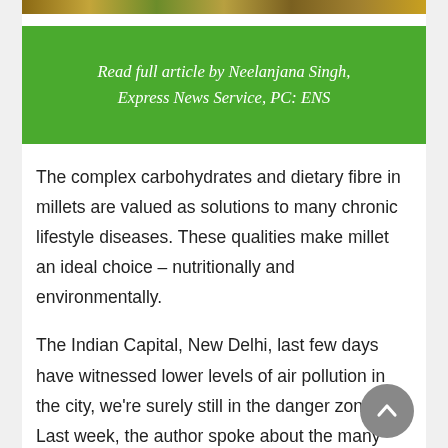[Figure (photo): Decorative photo strip of millet/grain fields at the top of the page]
Read full article by Neelanjana Singh, Express News Service, PC: ENS
The complex carbohydrates and dietary fibre in millets are valued as solutions to many chronic lifestyle diseases. These qualities make millet an ideal choice – nutritionally and environmentally.
The Indian Capital, New Delhi, last few days have witnessed lower levels of air pollution in the city, we're surely still in the danger zone. Last week, the author spoke about the many foods that serve as an antidote to the harmful effects of air pollution on the